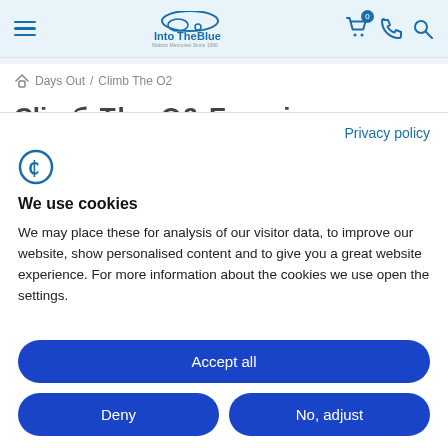[Figure (logo): IntoTheBlue logo with bird/flight graphic and tagline 'Making Memories Since 1996']
Days Out / Climb The O2
Climb The O2 Exper...
Privacy policy
[Figure (logo): Cookiebot logo - stylized F/C icon in blue]
We use cookies
We may place these for analysis of our visitor data, to improve our website, show personalised content and to give you a great website experience. For more information about the cookies we use open the settings.
Accept all
Deny
No, adjust